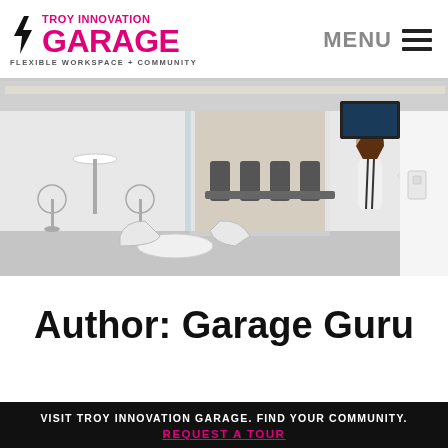TROY INNOVATION GARAGE — FLEXIBLE WORKSPACE + COMMUNITY | MENU
[Figure (photo): Interior of Troy Innovation Garage coworking space showing high-top tables, bar stools, lounge chairs, a round white coffee table, and two people talking near a standing-height table. Glass-walled conference room visible in background.]
Author: Garage Guru
VISIT TROY INNOVATION GARAGE. FIND YOUR COMMUNITY. REQUEST A TOUR